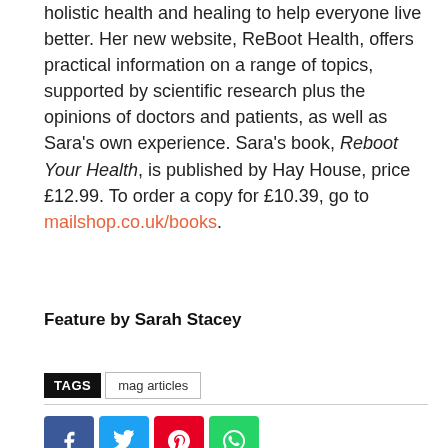holistic health and healing to help everyone live better. Her new website, ReBoot Health, offers practical information on a range of topics, supported by scientific research plus the opinions of doctors and patients, as well as Sara's own experience. Sara's book, Reboot Your Health, is published by Hay House, price £12.99. To order a copy for £10.39, go to mailshop.co.uk/books.
Feature by Sarah Stacey
TAGS   mag articles
[Figure (infographic): Social share buttons: Facebook (blue), Twitter (cyan), Pinterest (red), WhatsApp (green)]